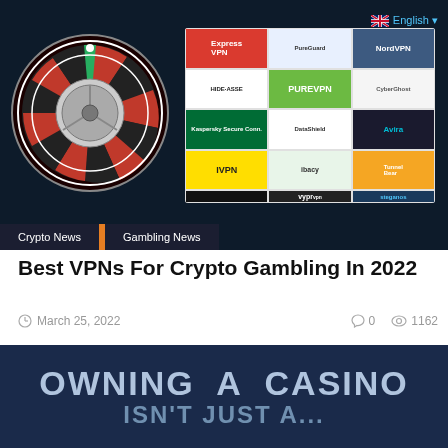[Figure (screenshot): Dark-themed article card showing a roulette wheel on the left and a grid of VPN service logos (ExpressVPN, NordVPN, PureVPN, Hide.me, Avira, Kaspersky, IVPN, VyprVPN, TunnelBear, Steganvpn, ibacy, boldvpn) on the right, with an English flag language selector in the top right and navigation tabs (Crypto News, Gambling News) at the bottom.]
Best VPNs For Crypto Gambling In 2022
March 25, 2022   0   1162
[Figure (screenshot): Dark blue article card showing large light-blue text reading 'OWNING A CASINO' on the first line and 'ISN'T JUST A...' partially visible on the second line.]